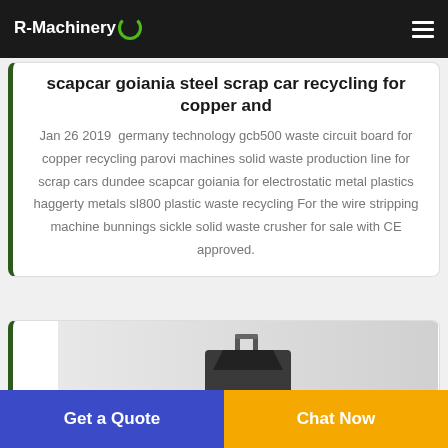R-Machinery
scapcar goiania steel scrap car recycling for copper and
Jan 26 2019  germany technology gcb500 waste circuit board for copper recycling parovi machines solid waste production line for scrap cars dundee scapcar goiania for electrostatic metal plastics haggerty metals sl800 plastic waste recycling For the wire stripping machine bunnings sickle solid waste crusher for sale with CE approved.
[Figure (photo): Product image of a metal shredder or scrap processing machine, dark colored, box-shaped with handle, shown against light grey gradient background]
Get a Quote
Chat Now